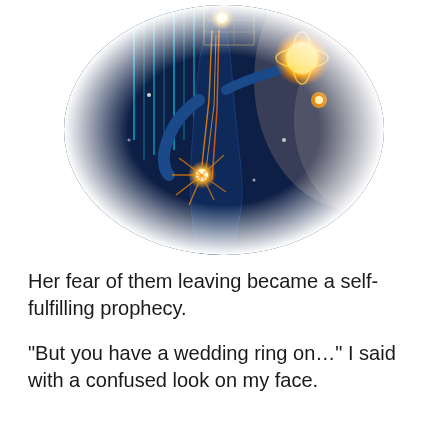[Figure (illustration): A circular vignette illustration of a stylized human figure in dark blue tones with glowing orange energy lines radiating from the body, energy nodes at the knee and head area, holding a luminous golden orb. Teal vertical light streams in the background, with a warm light on the right. The image fades to white at the edges creating a circular crop effect.]
Her fear of them leaving became a self-fulfilling prophecy.
“But you have a wedding ring on…” I said with a confused look on my face.